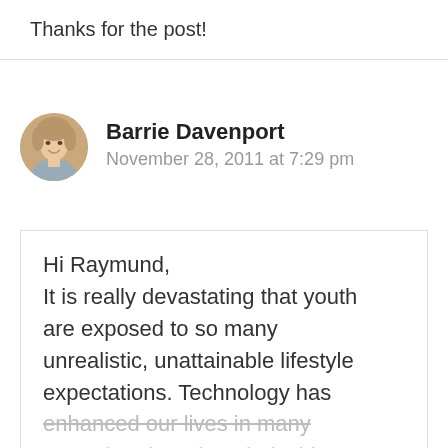Thanks for the post!
Barrie Davenport
November 28, 2011 at 7:29 pm
Hi Raymund,
It is really devastating that youth are exposed to so many unrealistic, unattainable lifestyle expectations. Technology has enhanced our lives in many ways, but there is a dark side.